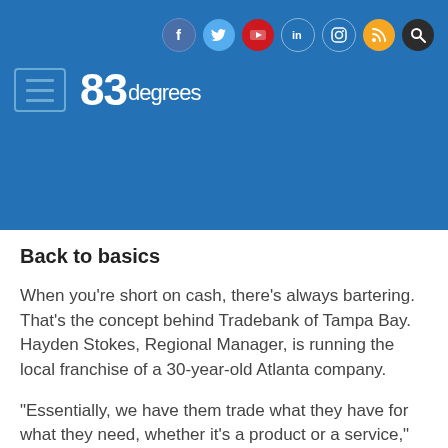[Figure (screenshot): 83degrees website header with blue background, social media icons (Facebook, Twitter, YouTube, LinkedIn, Instagram, RSS, Search), hamburger menu icon, and 83degrees logo]
Back to basics
When you’re short on cash, there’s always bartering. That’s the concept behind Tradebank of Tampa Bay. Hayden Stokes, Regional Manager, is running the local franchise of a 30-year-old Atlanta company.
“Essentially, we have them trade what they have for what they need, whether it’s a product or a service,” explains Stokes, who has around 60 clients.